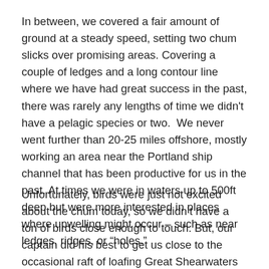In between, we covered a fair amount of ground at a steady speed, setting two chum slicks over promising areas. Covering a couple of ledges and a long contour line where we have had great success in the past, there was rarely any lengths of time we didn't have a pelagic species or two.  We never went further than 20-25 miles offshore, mostly working an area near the Portland ship channel that has been productive for us in the past. At times we were in waters up to 500ft deep but were more interested in places where upwelling might occur – such as near ledges, ridges, or “holes.”
Unfortunately, birds were just not excited about the chum today, so we didn’t have a ton of birds close enough to touch. But, our captain did his best to get us close to the occasional raft of loafing Great Shearwaters for example.